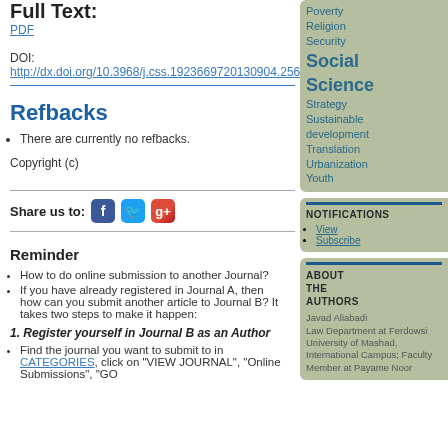Full Text:
PDF
DOI:
http://dx.doi.org/10.3968/j.css.1923669720130904.2561
Refbacks
There are currently no refbacks.
Copyright (c)
Share us to:
Reminder
How to do online submission to another Journal?
If you have already registered in Journal A, then how can you submit another article to Journal B? It takes two steps to make it happen:
1. Register yourself in Journal B as an Author
Find the journal you want to submit to in CATEGORIES, click on "VIEW JOURNAL", "Online Submissions", "GO
Poverty
Religion
Security
Social Science
Strategy
Sustainable development
Translation
Urbanization
Youth
NOTIFICATIONS
View
Subscribe
ABOUT THE AUTHORS
Javad Aliabadi
Law Department at Ferdowsi University of Mashad, International Campus; Faculty Member at Payame Noor